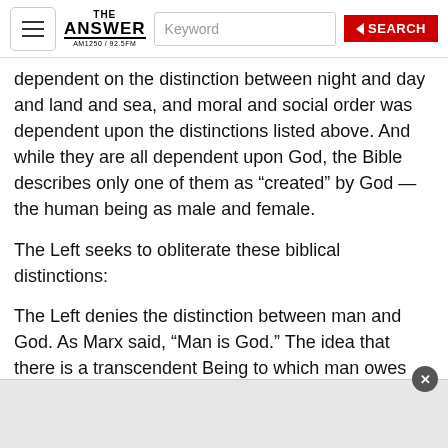THE ANSWER AM1250 / 92.5FM — Keyword — SEARCH
dependent on the distinction between night and day and land and sea, and moral and social order was dependent upon the distinctions listed above. And while they are all dependent upon God, the Bible describes only one of them as “created” by God — the human being as male and female.
The Left seeks to obliterate these biblical distinctions:
The Left denies the distinction between man and God. As Marx said, “Man is God.” The idea that there is a transcendent Being to which man owes moral obedience is anathema to the Left. Man is to answer only to himself (and ultimately to a left-wing state).